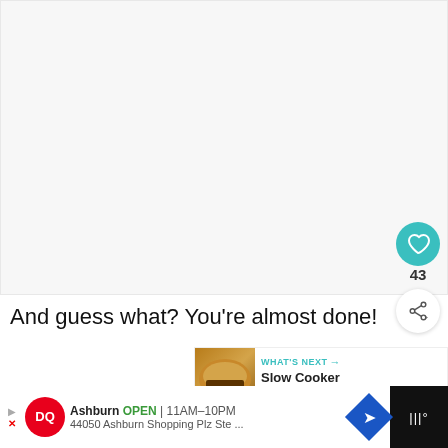[Figure (screenshot): Blank/white content area representing a recipe page image region]
[Figure (infographic): Teal circular like button with heart icon showing 43 likes, and a share button below]
And guess what? You’re almost done!
[Figure (infographic): What's Next banner with food thumbnail and text 'Slow Cooker Beef...']
[Figure (screenshot): Advertisement bar for Dairy Queen Ashburn location: OPEN 11AM-10PM, 44050 Ashburn Shopping Plz Ste ...]